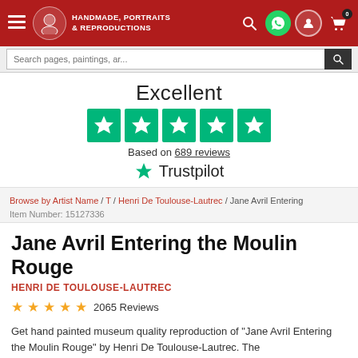HANDMADE PORTRAITS & REPRODUCTIONS — site header with navigation icons
[Figure (screenshot): Search bar with dark search button]
Excellent
[Figure (infographic): Five green Trustpilot star rating boxes]
Based on 689 reviews
[Figure (logo): Trustpilot logo with green star]
Browse by Artist Name / T / Henri De Toulouse-Lautrec / Jane Avril Entering
Item Number: 15127336
Jane Avril Entering the Moulin Rouge
HENRI DE TOULOUSE-LAUTREC
2065 Reviews
Get hand painted museum quality reproduction of "Jane Avril Entering the Moulin Rouge" by Henri De Toulouse-Lautrec. The